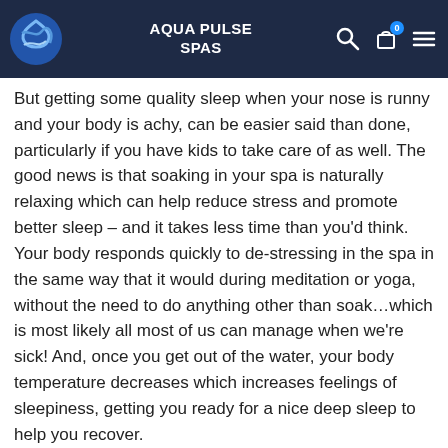also help promote a good night's sleep and as you know, sleep is your body needs to rejuvenate and heal
AQUA PULSE SPAS
But getting some quality sleep when your nose is runny and your body is achy, can be easier said than done, particularly if you have kids to take care of as well. The good news is that soaking in your spa is naturally relaxing which can help reduce stress and promote better sleep – and it takes less time than you'd think. Your body responds quickly to de-stressing in the spa in the same way that it would during meditation or yoga, without the need to do anything other than soak…which is most likely all most of us can manage when we're sick! And, once you get out of the water, your body temperature decreases which increases feelings of sleepiness, getting you ready for a nice deep sleep to help you recover.
Just one 15 minute relaxing soak in your hot tub can improve sleep and help your body recover faster. Remember to make sure you have something warm to wrap yourself in on the trip from spa to house, and make sure your home is nice and warm too.
And the number one way to beat sinus pain is a soak in a spa. Hot